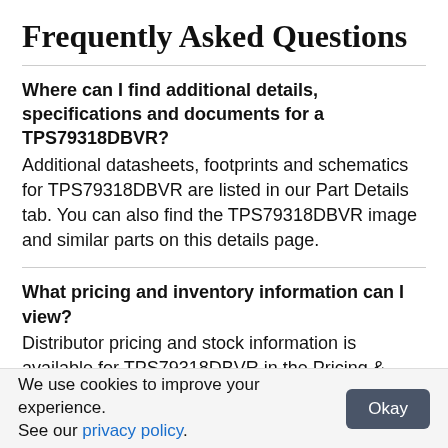Frequently Asked Questions
Where can I find additional details, specifications and documents for a TPS79318DBVR?
Additional datasheets, footprints and schematics for TPS79318DBVR are listed in our Part Details tab. You can also find the TPS79318DBVR image and similar parts on this details page.
What pricing and inventory information can I view?
Distributor pricing and stock information is available for TPS79318DBVR in the Pricing & Inventory tab next to part details. You can view TPS79318DBVR price breaks, MOQs, lead times, inventory and SKUs from
We use cookies to improve your experience. See our privacy policy.